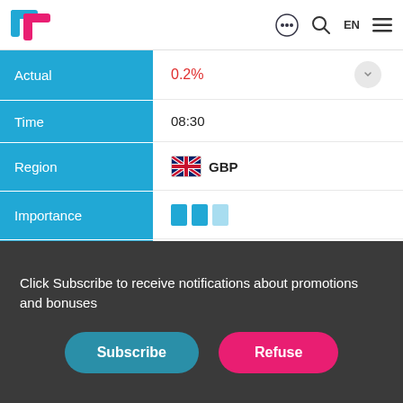TradingView app navigation bar with logo, chat icon, search icon, EN language selector, and menu icon
| Field | Value |
| --- | --- |
| Actual | 0.2% |
| Time | 08:30 |
| Region | GBP |
| Importance | ||| |
| Event | HICP, m/m |
| Frequency | June |
| Prev | 0.3% |
| Forecast | 0.2% |
Click Subscribe to receive notifications about promotions and bonuses
Subscribe
Refuse